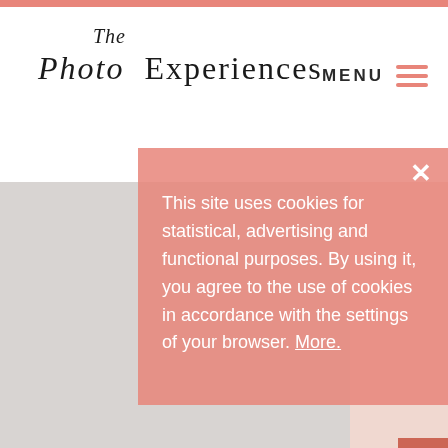The Photo Experiences — MENU
[Figure (photo): Gray placeholder image area occupying the left portion of the main content section]
This site uses cookies for statistical, advertising and functional purposes. By using it, you agree to the use of cookies in accordance with the settings of your browser. More.